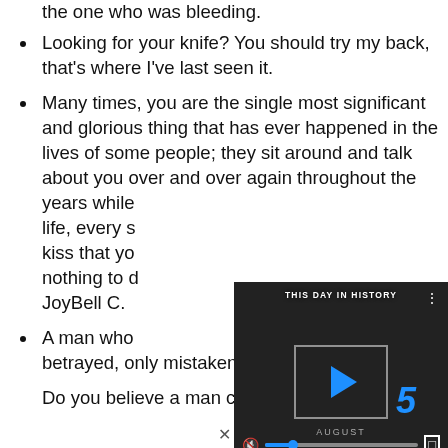the one who was bleeding.
Looking for your knife? You should try my back, that’s where I’ve last seen it.
Many times, you are the single most significant and glorious thing that has ever happened in the lives of some people; they sit around and talk about you over and over again throughout the years while [obscured by video] life, every s[obscured] kiss that yo[obscured] nothing to d[obscured] JoyBell C.
[Figure (screenshot): Video overlay showing 'THIS DAY IN HISTORY' with NFL branding, a play button, the number 5, the word AUGUST, and video controls including mute, progress bar, and fullscreen button.]
A man who [obscured] betrayed, only mistaken. – Cally
Do you believe a man can truly love a